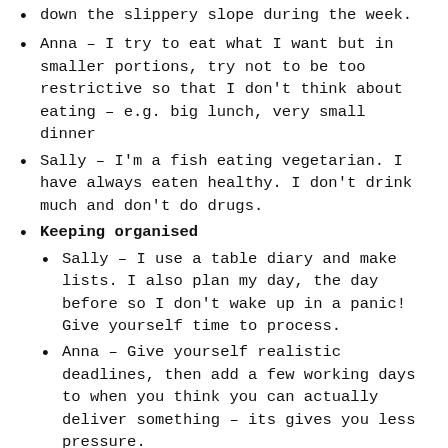down the slippery slope during the week.
Anna – I try to eat what I want but in smaller portions, try not to be too restrictive so that I don't think about eating – e.g. big lunch, very small dinner
Sally – I'm a fish eating vegetarian. I have always eaten healthy. I don't drink much and don't do drugs.
Keeping organised
Sally – I use a table diary and make lists. I also plan my day, the day before so I don't wake up in a panic! Give yourself time to process.
Anna – Give yourself realistic deadlines, then add a few working days to when you think you can actually deliver something – its gives you less pressure.
Laura – Alongside to-do lists, I block out time in my calendar on individual tasks that I want to focus on – whether it's for high priority